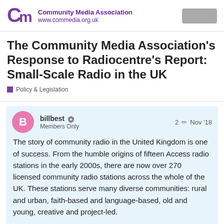Community Media Association www.commedia.org.uk
The Community Media Association’s Response to Radiocentre’s Report: Small-Scale Radio in the UK
Policy & Legislation
billbest ● Members Only  2  Nov ’18
The story of community radio in the United Kingdom is one of success. From the humble origins of fifteen Access radio stations in the early 2000s, there are now over 270 licensed community radio stations across the whole of the UK. These stations serve many diverse communities: rural and urban, faith-based and language-based, old and young, creative and project-led.
Community radio has one consistent them
1 / 8